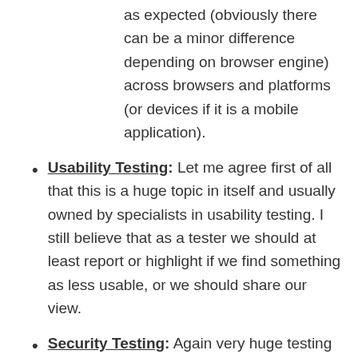as expected (obviously there can be a minor difference depending on browser engine) across browsers and platforms (or devices if it is a mobile application).
Usability Testing: Let me agree first of all that this is a huge topic in itself and usually owned by specialists in usability testing. I still believe that as a tester we should at least report or highlight if we find something as less usable, or we should share our view.
Security Testing: Again very huge testing type and requires a lot of practical knowledge of course. The tester should try to learn and execute at least basic tests like URL tampering, Cross-site scripting, SQL injection,